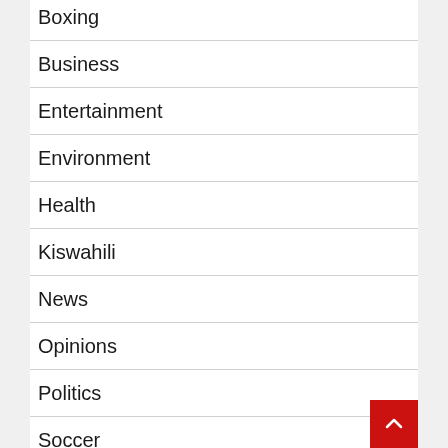Boxing
Business
Entertainment
Environment
Health
Kiswahili
News
Opinions
Politics
Soccer